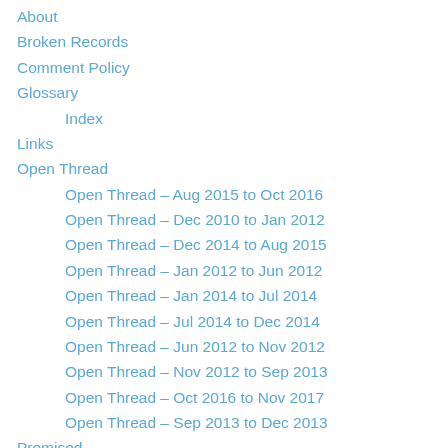About
Broken Records
Comment Policy
Glossary
Index
Links
Open Thread
Open Thread – Aug 2015 to Oct 2016
Open Thread – Dec 2010 to Jan 2012
Open Thread – Dec 2014 to Aug 2015
Open Thread – Jan 2012 to Jun 2012
Open Thread – Jan 2014 to Jul 2014
Open Thread – Jul 2014 to Dec 2014
Open Thread – Jun 2012 to Nov 2012
Open Thread – Nov 2012 to Sep 2013
Open Thread – Oct 2016 to Nov 2017
Open Thread – Sep 2013 to Dec 2013
Promised
Suggestions